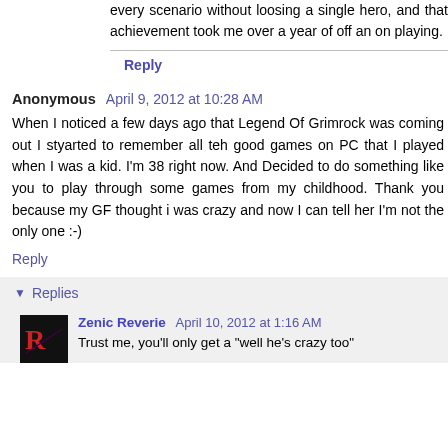every scenario without loosing a single hero, and that achievement took me over a year of off an on playing.
Reply
Anonymous  April 9, 2012 at 10:28 AM
When I noticed a few days ago that Legend Of Grimrock was coming out I styarted to remember all teh good games on PC that I played when I was a kid. I'm 38 right now. And Decided to do something like you to play through some games from my childhood. Thank you because my GF thought i was crazy and now I can tell her I'm not the only one :-)
Reply
Replies
Zenic Reverie  April 10, 2012 at 1:16 AM
Trust me, you'll only get a "well he's crazy too"